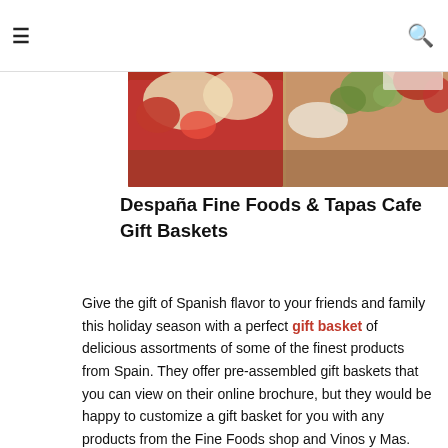≡  [search icon]
[Figure (photo): Photo of gift baskets with red wrapping, food items, and Spanish products in boxes]
Despaña Fine Foods & Tapas Cafe Gift Baskets
Give the gift of Spanish flavor to your friends and family this holiday season with a perfect gift basket of delicious assortments of some of the finest products from Spain. They offer pre-assembled gift baskets that you can view on their online brochure, but they would be happy to customize a gift basket for you with any products from the Fine Foods shop and Vinos y Mas. They can also ship your gift basket through UPS (United States only), and hand-deliver the baskets within